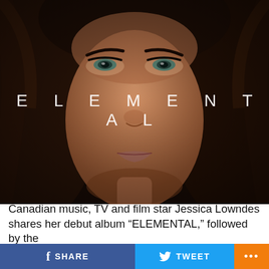[Figure (photo): Close-up portrait of Jessica Lowndes with the word ELEMENTAL overlaid in large spaced white letters across the middle of the image. Dark hair, striking eyes, tanned complexion, neutral expression.]
Canadian music, TV and film star Jessica Lowndes shares her debut album “ELEMENTAL,” followed by the
SHARE  TWEET  ...